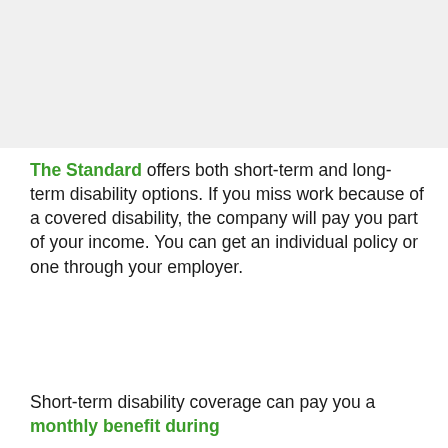[Figure (other): Image placeholder at top of page]
The Standard offers both short-term and long-term disability options. If you miss work because of a covered disability, the company will pay you part of your income. You can get an individual policy or one through your employer.
Short-term disability coverage can pay you a monthly benefit during